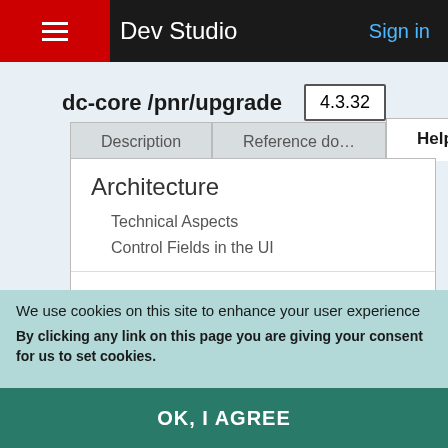Dev Studio | Sign in
dc-core /pnr/upgrade 4.3.32
Architecture
Technical Aspects
Control Fields in the UI
Security
We use cookies on this site to enhance your user experience
By clicking any link on this page you are giving your consent for us to set cookies.
OK, I AGREE